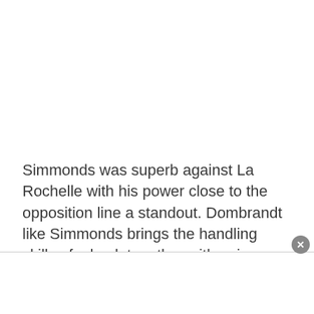Simmonds was superb against La Rochelle with his power close to the opposition line a standout. Dombrandt like Simmonds brings the handling skills of a back together with unique running angles. Yes, they may not be quite there in terms of the dark arts of forward play but they are both improving in this area. One would have a semblance of understanding if Vunipola was fit but now that he isn't, the thinking